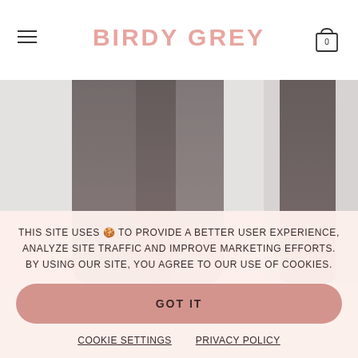BIRDY GREY
[Figure (photo): Two models wearing dark sheer dresses/skirts, lower body visible, displayed as product images side by side]
THIS SITE USES 🍪 TO PROVIDE A BETTER USER EXPERIENCE, ANALYZE SITE TRAFFIC AND IMPROVE MARKETING EFFORTS. BY USING OUR SITE, YOU AGREE TO OUR USE OF COOKIES.
GOT IT
COOKIE SETTINGS    PRIVACY POLICY